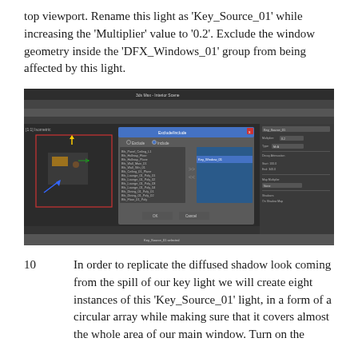top viewport. Rename this light as 'Key_Source_01' while increasing the 'Multiplier' value to '0.2'. Exclude the window geometry inside the 'DFX_Windows_01' group from being affected by this light.
[Figure (screenshot): 3D software interface screenshot showing a viewport with a room model and an 'Exclude/Include' dialog box open, with lists of objects to include or exclude from lighting. The interface shows the top viewport with light positioned, and the right panel shows light settings.]
10        In order to replicate the diffused shadow look coming from the spill of our key light we will create eight instances of this 'Key_Source_01' light, in a form of a circular array while making sure that it covers almost the whole area of our main window. Turn on the